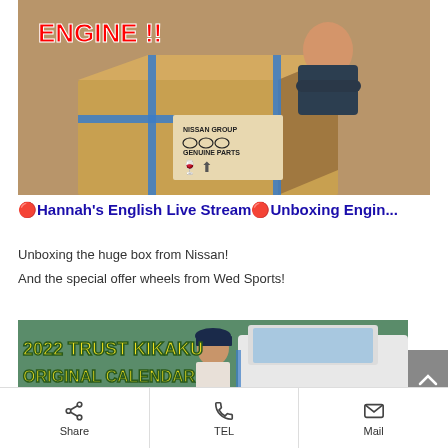[Figure (photo): Woman leaning over a large cardboard box labeled NISSAN GROUP GENUINE PARTS in a warehouse. Overlaid text reads ENGINE !! in red bold letters.]
🔴Hannah's English Live Stream🔴Unboxing Engin...
Unboxing the huge box from Nissan!
And the special offer wheels from Wed Sports!
[Figure (photo): Woman standing next to a car with overlay text reading 2022 TRUST KIKAKU ORIGINAL CALENDAR in yellow bold letters.]
Share
TEL
Mail